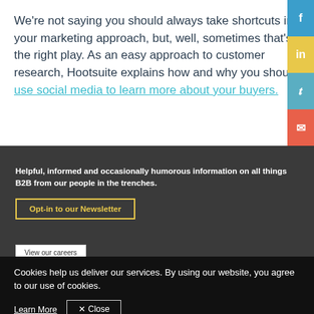We're not saying you should always take shortcuts in your marketing approach, but, well, sometimes that's the right play. As an easy approach to customer research, Hootsuite explains how and why you should use social media to learn more about your buyers.
Helpful, informed and occasionally humorous information on all things B2B from our people in the trenches.
Opt-in to our Newsletter
View our careers
Cookies help us deliver our services. By using our website, you agree to our use of cookies.
Learn More
✕ Close